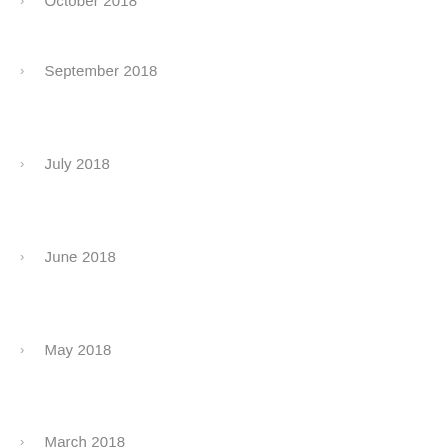October 2018
September 2018
July 2018
June 2018
May 2018
March 2018
November 2017
CATEGORIES
Beauty
Inspiration
Uncategorized